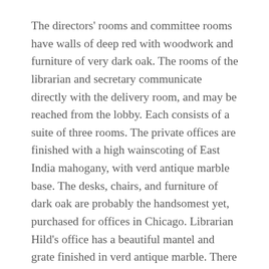The directors' rooms and committee rooms have walls of deep red with woodwork and furniture of very dark oak. The rooms of the librarian and secretary communicate directly with the delivery room, and may be reached from the lobby. Each consists of a suite of three rooms. The private offices are finished with a high wainscoting of East India mahogany, with verd antique marble base. The desks, chairs, and furniture of dark oak are probably the handsomest yet, purchased for offices in Chicago. Librarian Hild's office has a beautiful mantel and grate finished in verd antique marble. There are handsome cabinets and cases for a small private library. The floor is richly carpeted.

While the new library is a gratifying success on architectural and decorative lines, we have now here